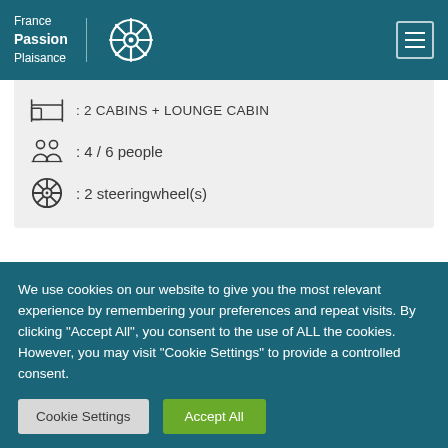France Passion Plaisance
Linssen Yacht 36
| : 2 CABINS + LOUNGE CABIN |
| : 4 / 6 people |
| : 2 steeringwheel(s) |
We use cookies on our website to give you the most relevant experience by remembering your preferences and repeat visits. By clicking "Accept All", you consent to the use of ALL the cookies. However, you may visit "Cookie Settings" to provide a controlled consent.
Cookie Settings | Accept All